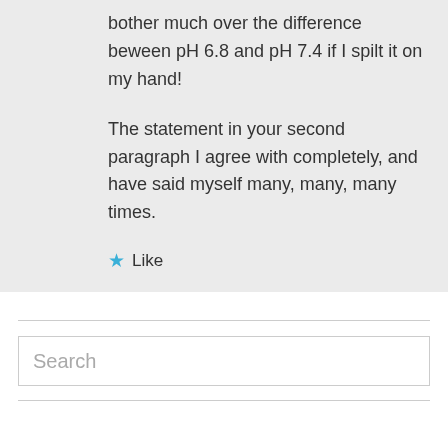bother much over the difference beween pH 6.8 and pH 7.4 if I spilt it on my hand!

The statement in your second paragraph I agree with completely, and have said myself many, many, many times.
★ Like
Search